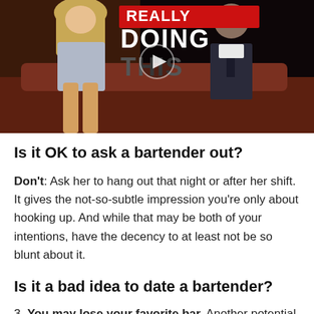[Figure (screenshot): Video thumbnail showing a woman in a silver dress and a man in a suit sitting on a talk show set, with text overlay reading 'DOING THIS' in bold white/red letters and a play button icon in the center.]
Is it OK to ask a bartender out?
Don't: Ask her to hang out that night or after her shift. It gives the not-so-subtle impression you're only about hooking up. And while that may be both of your intentions, have the decency to at least not be so blunt about it.
Is it a bad idea to date a bartender?
3. You may lose your favorite bar. Another potential